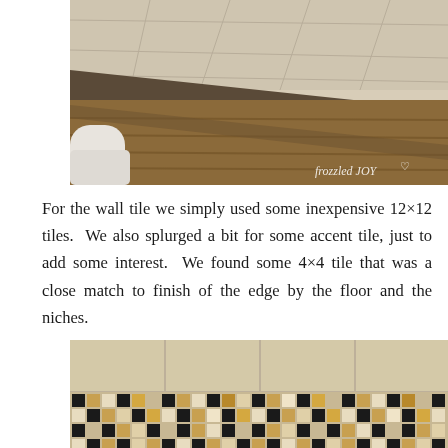[Figure (photo): A bathroom floor photo showing a transition between wood-look flooring and white tile, with the toilet partially visible. Watermark reads 'frozzled JOY' in bottom right corner.]
For the wall tile we simply used some inexpensive 12×12 tiles.  We also splurged a bit for some accent tile, just to add some interest.  We found some 4×4 tile that was a close match to finish of the edge by the floor and the niches.
[Figure (photo): A close-up photo of a decorative mosaic accent tile border featuring black, tan, cream, and brown small square tiles arranged in a pattern, set against larger beige/cream wall tiles.]